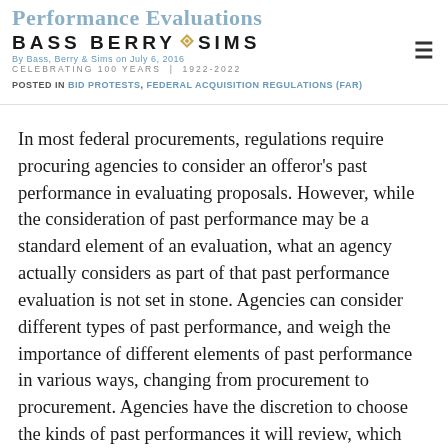Performance Evaluations
[Figure (logo): Bass Berry & Sims law firm logo with diamond compass icon, celebrating 100 years 1922-2022, and hamburger menu icon]
By Bass, Berry & Sims on July 6, 2016
POSTED IN BID PROTESTS, FEDERAL ACQUISITION REGULATIONS (FAR)
In most federal procurements, regulations require procuring agencies to consider an offeror's past performance in evaluating proposals. However, while the consideration of past performance may be a standard element of an evaluation, what an agency actually considers as part of that past performance evaluation is not set in stone. Agencies can consider different types of past performance, and weigh the importance of different elements of past performance in various ways, changing from procurement to procurement. Agencies have the discretion to choose the kinds of past performances it will review, which personnel are relevant to an evaluation, how many